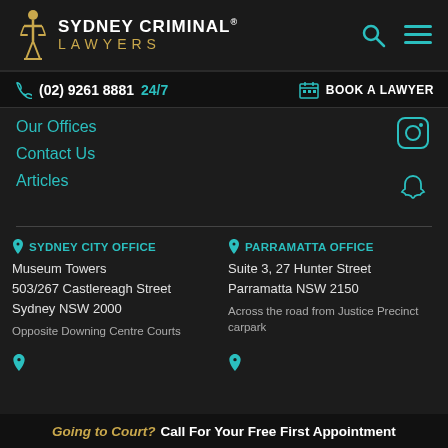SYDNEY CRIMINAL® LAWYERS
(02) 9261 8881 24/7  BOOK A LAWYER
Our Offices
Contact Us
Articles
SYDNEY CITY OFFICE
Museum Towers
503/267 Castlereagh Street
Sydney NSW 2000
Opposite Downing Centre Courts
PARRAMATTA OFFICE
Suite 3, 27 Hunter Street
Parramatta NSW 2150
Across the road from Justice Precinct carpark
Going to Court? Call For Your Free First Appointment